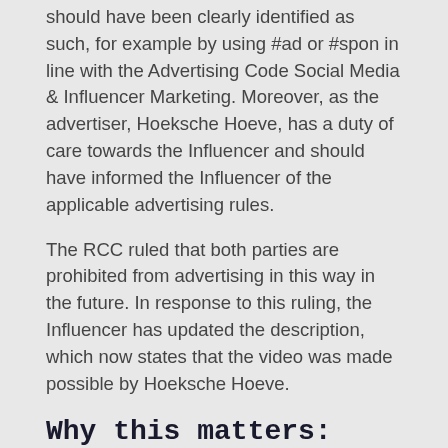should have been clearly identified as such, for example by using #ad or #spon in line with the Advertising Code Social Media & Influencer Marketing. Moreover, as the advertiser, Hoeksche Hoeve, has a duty of care towards the Influencer and should have informed the Influencer of the applicable advertising rules.
The RCC ruled that both parties are prohibited from advertising in this way in the future. In response to this ruling, the Influencer has updated the description, which now states that the video was made possible by Hoeksche Hoeve.
Why this matters:
This ruling contains a number of interesting takeaways.
Firstly, advertisers and influencers should be aware that even a short fragment of a longer video can qualify as the